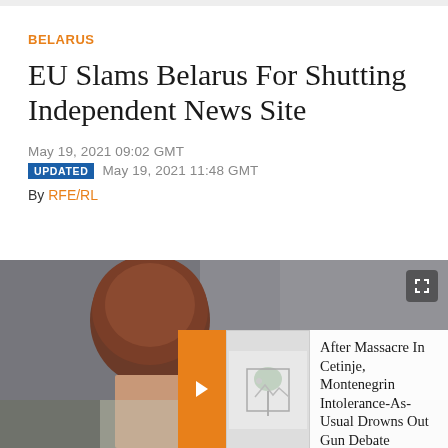BELARUS
EU Slams Belarus For Shutting Independent News Site
May 19, 2021 09:02 GMT
UPDATED  May 19, 2021 11:48 GMT
By RFE/RL
[Figure (photo): Photo showing the back of a person's head with brown hair against a grey background, with a related article card overlay reading 'After Massacre In Cetinje, Montenegrin Intolerance-As-Usual Drowns Out Gun Debate']